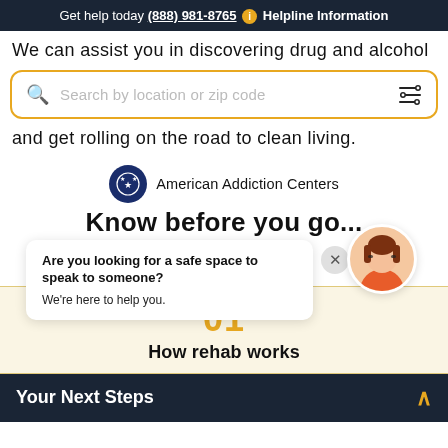Get help today (888) 981-8765 i Helpline Information
We can assist you in discovering drug and alcohol
[Figure (screenshot): Search bar with placeholder text 'Search by location or zip code' with magnifying glass icon and filter icon, bordered in gold/yellow]
and get rolling on the road to clean living.
[Figure (logo): American Addiction Centers logo with dark blue circular emblem and stars]
Know before you go...
[Figure (infographic): Chat bubble popup: 'Are you looking for a safe space to speak to someone? We're here to help you.' with close X button and female avatar with red hair and glasses]
01
How rehab works
Your Next Steps